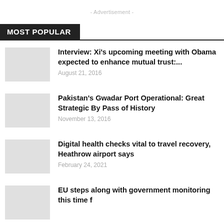- Advertisement -
MOST POPULAR
Interview: Xi's upcoming meeting with Obama expected to enhance mutual trust:...
Pakistan's Gwadar Port Operational: Great Strategic By Pass of History
Digital health checks vital to travel recovery, Heathrow airport says
EU steps along with…